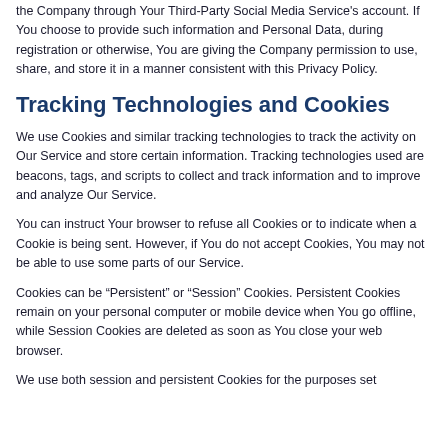the Company through Your Third-Party Social Media Service's account. If You choose to provide such information and Personal Data, during registration or otherwise, You are giving the Company permission to use, share, and store it in a manner consistent with this Privacy Policy.
Tracking Technologies and Cookies
We use Cookies and similar tracking technologies to track the activity on Our Service and store certain information. Tracking technologies used are beacons, tags, and scripts to collect and track information and to improve and analyze Our Service.
You can instruct Your browser to refuse all Cookies or to indicate when a Cookie is being sent. However, if You do not accept Cookies, You may not be able to use some parts of our Service.
Cookies can be “Persistent” or “Session” Cookies. Persistent Cookies remain on your personal computer or mobile device when You go offline, while Session Cookies are deleted as soon as You close your web browser.
We use both session and persistent Cookies for the purposes set